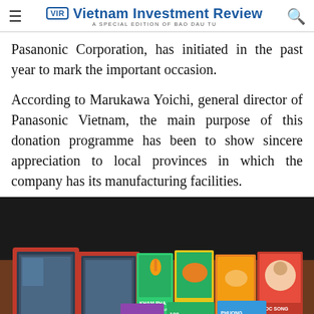Vietnam Investment Review — A SPECIAL EDITION OF BAO DAU TU
Pasanonic Corporation, has initiated in the past year to mark the important occasion.
According to Marukawa Yoichi, general director of Panasonic Vietnam, the main purpose of this donation programme has been to show sincere appreciation to local provinces in which the company has its manufacturing facilities.
[Figure (photo): Photo of tablet computers in boxes alongside children's books including titles 'Khoa Hoc', 'Dong Vat', 'Cuoc Song Quanh Em', and 'Phuong Tien' arranged on a table.]